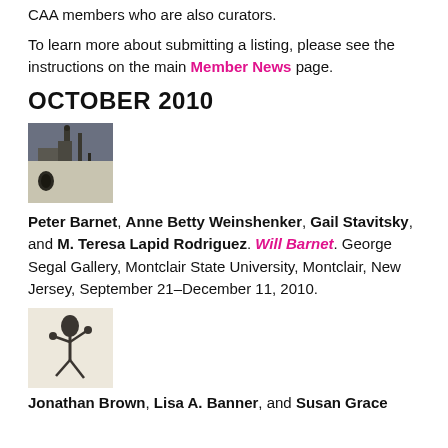CAA members who are also curators.
To learn more about submitting a listing, please see the instructions on the main Member News page.
OCTOBER 2010
[Figure (photo): Small photograph showing industrial/architectural scene with silhouetted figures against sky]
Peter Barnet, Anne Betty Weinshenker, Gail Stavitsky, and M. Teresa Lapid Rodriguez. Will Barnet. George Segal Gallery, Montclair State University, Montclair, New Jersey, September 21–December 11, 2010.
[Figure (photo): Small sketch/illustration of a dancing or leaping figure]
Jonathan Brown, Lisa A. Banner, and Susan Grace